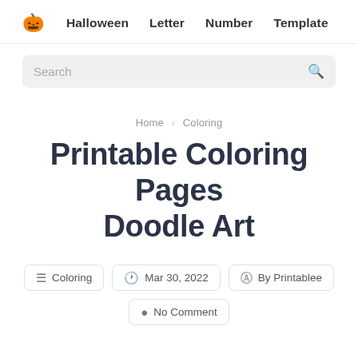🎃 Halloween   Letter   Number   Template
Search
Home / Coloring
Printable Coloring Pages Doodle Art
Coloring
Mar 30, 2022
By Printablee
No Comment